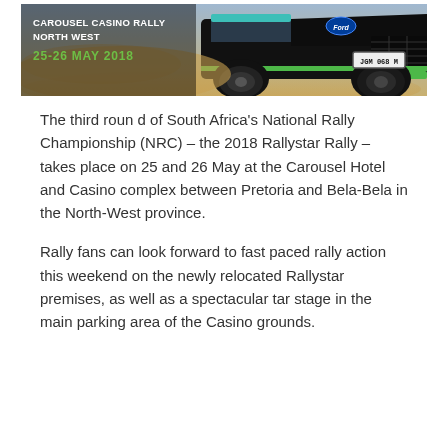[Figure (photo): Banner image for Carousel Casino Rally North West event, 25-26 May 2018. Shows a dark off-road rally car with green accents (Ford, license plate JGM 068 M) on dusty terrain, with text overlay showing event name, location, and dates in white and green.]
The third round of South Africa's National Rally Championship (NRC) – the 2018 Rallystar Rally – takes place on 25 and 26 May at the Carousel Hotel and Casino complex between Pretoria and Bela-Bela in the North-West province.
Rally fans can look forward to fast paced rally action this weekend on the newly relocated Rallystar premises, as well as a spectacular tar stage in the main parking area of the Casino grounds.